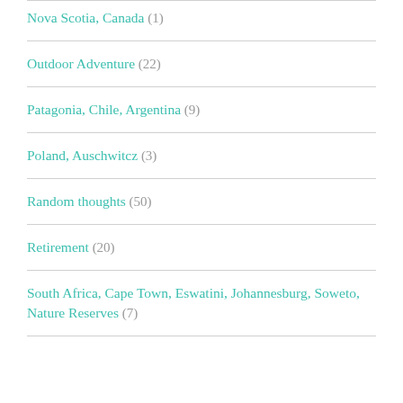Nova Scotia, Canada (1)
Outdoor Adventure (22)
Patagonia, Chile, Argentina (9)
Poland, Auschwitcz (3)
Random thoughts (50)
Retirement (20)
South Africa, Cape Town, Eswatini, Johannesburg, Soweto, Nature Reserves (7)